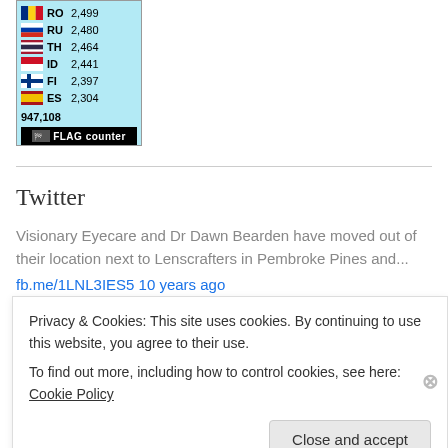[Figure (other): Flag counter widget showing country flags with codes and visitor counts: RO 2,499 / RU 2,480 / TH 2,464 / ID 2,441 / FI 2,397 / ES 2,304 / Total: 947,108 / FLAG counter logo]
Twitter
Visionary Eyecare and Dr Dawn Bearden have moved out of their location next to Lenscrafters in Pembroke Pines and...
fb.me/1LNL3IES5 10 years ago
Privacy & Cookies: This site uses cookies. By continuing to use this website, you agree to their use.
To find out more, including how to control cookies, see here: Cookie Policy
Close and accept